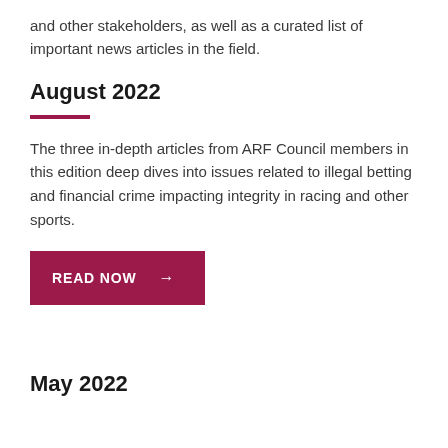and other stakeholders, as well as a curated list of important news articles in the field.
August 2022
The three in-depth articles from ARF Council members in this edition deep dives into issues related to illegal betting and financial crime impacting integrity in racing and other sports.
READ NOW →
May 2022